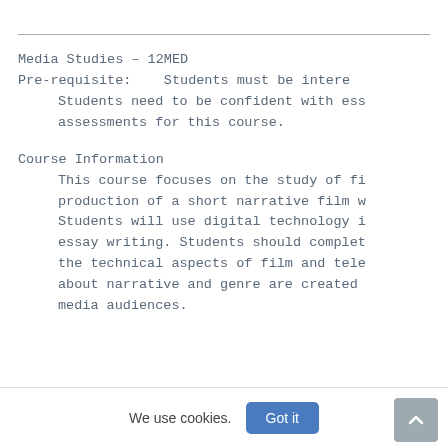Media Studies – 12MED
Pre-requisite:    Students must be intere
    Students need to be confident with ess
    assessments for this course.
Course Information
This course focuses on the study of fi production of a short narrative film w Students will use digital technology i essay writing. Students should complet the technical aspects of film and tele about narrative and genre are created media audiences.
We use cookies.
Got it